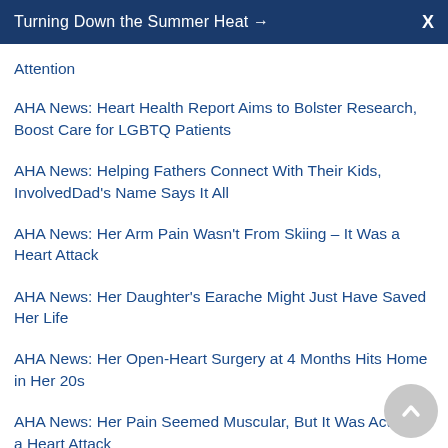Turning Down the Summer Heat → X
Attention
AHA News: Heart Health Report Aims to Bolster Research, Boost Care for LGBTQ Patients
AHA News: Helping Fathers Connect With Their Kids, InvolvedDad's Name Says It All
AHA News: Her Arm Pain Wasn't From Skiing &ndash; It Was a Heart Attack
AHA News: Her Daughter's Earache Might Just Have Saved Her Life
AHA News: Her Open-Heart Surgery at 4 Months Hits Home in Her 20s
AHA News: Her Pain Seemed Muscular, But It Was Actually a Heart Attack
AHA News: Here's to a Healthy 2021, With Resolutions From Heart Doctors